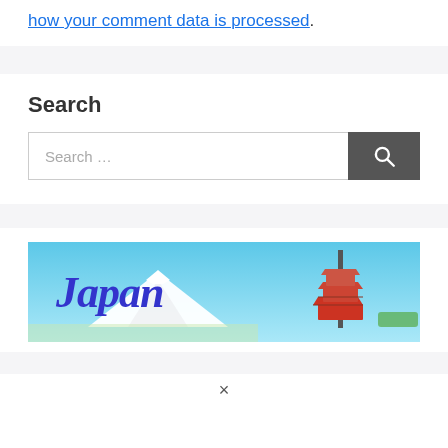how your comment data is processed.
Search
Search …
[Figure (photo): Japan travel banner image showing Mount Fuji with snow cap, blue sky, and a red Japanese pagoda on the right side with the word 'Japan' in large blue italic text overlay]
×